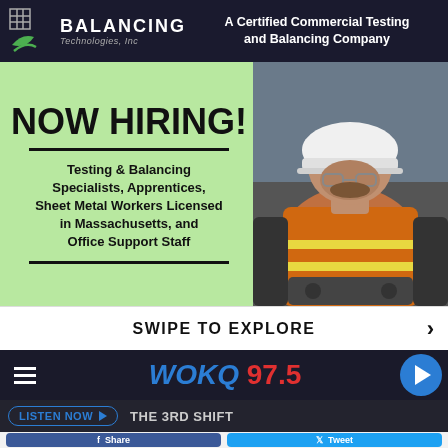BALANCING Technologies, Inc — A Certified Commercial Testing and Balancing Company
[Figure (photo): Hiring ad banner with green background showing NOW HIRING text and worker photo with hard hat and orange safety vest]
NOW HIRING!
Testing & Balancing Specialists, Apprentices, Sheet Metal Workers Licensed in Massachusetts, and Office Support Staff
SWIPE TO EXPLORE
[Figure (logo): WOKQ 97.5 radio station logo with blue WOKQ and red 97.5 text on dark background]
LISTEN NOW ▶  THE 3RD SHIFT
f  Share
Tweet